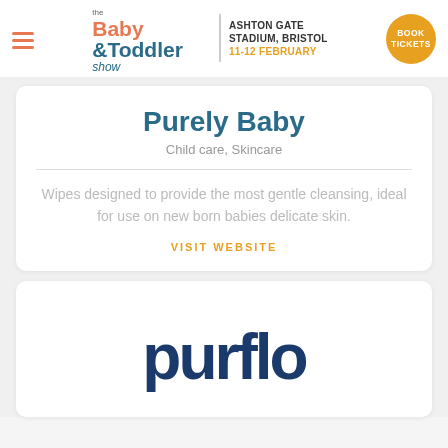the Baby & Toddler show pura | ASHTON GATE STADIUM, BRISTOL | 11-12 FEBRUARY | BOOK TICKETS
Purely Baby
Child care, Skincare
Wipes designed to provide the most gentle cleansing, ideal for use on new born babies delicate skin.
VISIT WEBSITE
[Figure (logo): Purflo logo in large dark navy bold text]